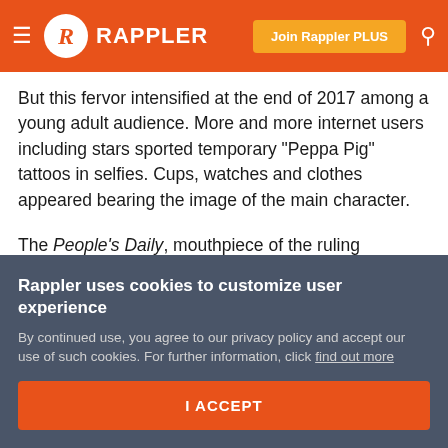RAPPLER — Join Rappler PLUS
But this fervor intensified at the end of 2017 among a young adult audience. More and more internet users including stars sported temporary "Peppa Pig" tattoos in selfies. Cups, watches and clothes appeared bearing the image of the main character.
The People's Daily, mouthpiece of the ruling Communist Party, sounded the charge last Thursday – denouncing the harmful effect of the commercialization of Peppa which was encouraged by web celebrities.
Rappler uses cookies to customize user experience
By continued use, you agree to our privacy policy and accept our use of such cookies. For further information, click find out more
I ACCEPT